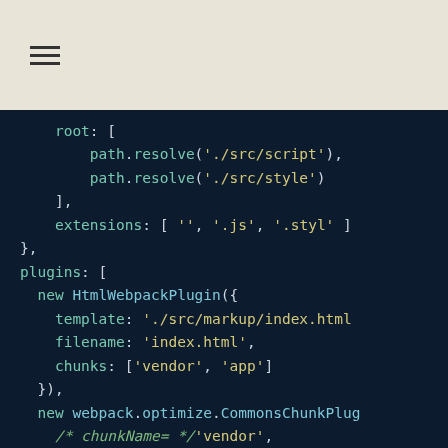[Figure (screenshot): Header bar with hamburger menu icon on beige/tan background]
root: [
    path.resolve('./src/script'),
    path.resolve('./src/style')
  ],
  extensions: [ '', '.js', '.styl' ]
},
plugins: [
  new HtmlWebpackPlugin({
    template: './src/markup/index.html
    filename: 'index.html',
    chunks: ['vendor', 'app']
  }),
  new webpack.optimize.CommonsChunkPlug
    /* chunkName= */'vendor',
    /* filename= */'vendor.js'
  )